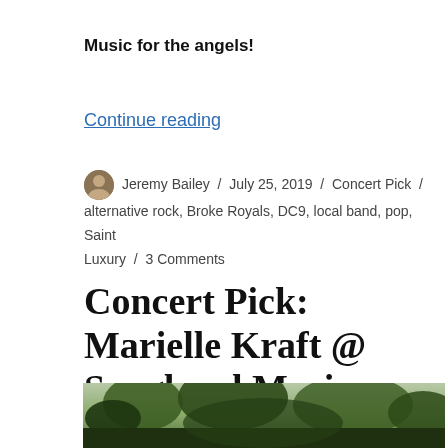Music for the angels!
Continue reading
Jeremy Bailey / July 25, 2019 / Concert Pick / alternative rock, Broke Royals, DC9, local band, pop, Saint Luxury / 3 Comments
Concert Pick: Marielle Kraft @ Songbyrd Music House (7/27/19)
[Figure (photo): Outdoor photo showing trees and foliage, bottom strip of the page]